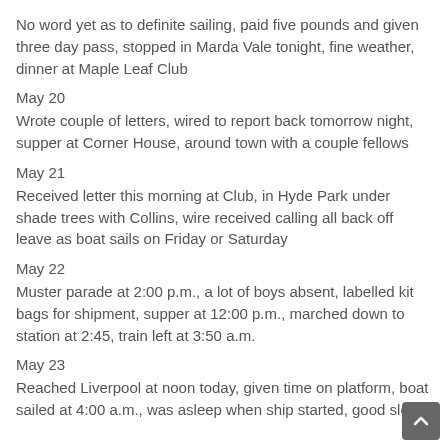No word yet as to definite sailing, paid five pounds and given three day pass, stopped in Marda Vale tonight, fine weather, dinner at Maple Leaf Club
May 20
Wrote couple of letters, wired to report back tomorrow night, supper at Corner House, around town with a couple fellows
May 21
Received letter this morning at Club, in Hyde Park under shade trees with Collins, wire received calling all back off leave as boat sails on Friday or Saturday
May 22
Muster parade at 2:00 p.m., a lot of boys absent, labelled kit bags for shipment, supper at 12:00 p.m., marched down to station at 2:45, train left at 3:50 a.m.
May 23
Reached Liverpool at noon today, given time on platform, boat sailed at 4:00 a.m., was asleep when ship started, good sleep